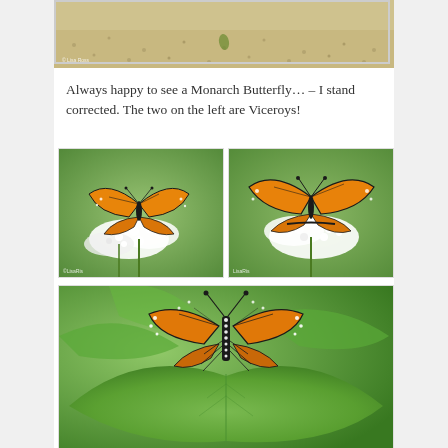[Figure (photo): Cropped top of a nature photo showing dry grass/ground with a photo credit '© Lisa Ross' at the bottom left]
Always happy to see a Monarch Butterfly… – I stand corrected. The two on the left are Viceroys!
[Figure (photo): Close-up photo of a Viceroy butterfly perched on white Queen Anne's Lace flowers, wings partially open showing orange and black pattern, green background. Photo credit: LisaRis]
[Figure (photo): Close-up photo of a Viceroy butterfly on white Queen Anne's Lace flowers, wings spread showing orange and black pattern, green background. Photo credit: LisaRis]
[Figure (photo): Close-up photo of a Monarch butterfly resting on large green leaves, viewed from above showing black body with white spots and orange wings with black veins, green leafy background]